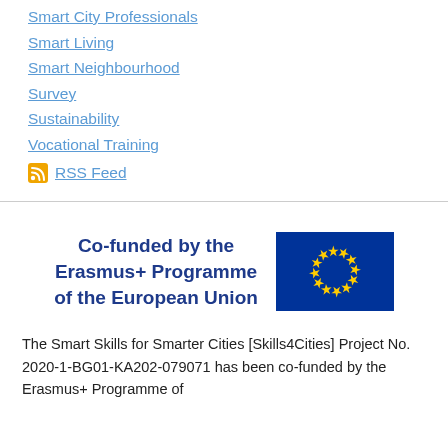Smart City Professionals
Smart Living
Smart Neighbourhood
Survey
Sustainability
Vocational Training
RSS Feed
[Figure (logo): Co-funded by the Erasmus+ Programme of the European Union logo with EU flag]
The Smart Skills for Smarter Cities [Skills4Cities] Project No. 2020-1-BG01-KA202-079071 has been co-funded by the Erasmus+ Programme of